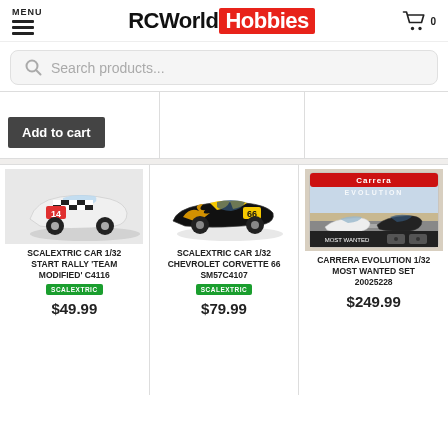RCWorld Hobbies - MENU, search bar, cart
[Figure (screenshot): Add to cart button for a product in a top partial row, and two empty product card areas]
[Figure (photo): Scalextric Car 1/32 Start Rally 'Team Modified' C4116 - white rally car with checkered livery, number 14]
SCALEXTRIC CAR 1/32 START RALLY 'TEAM MODIFIED' C4116
[Figure (photo): Scalextric Car 1/32 Chevrolet Corvette 66 SM57C4107 - black car with yellow flame graphics, number 66]
SCALEXTRIC CAR 1/32 CHEVROLET CORVETTE 66 SM57C4107
[Figure (photo): Carrera Evolution 1/32 Most Wanted Set 20025228 - box showing two racing cars on track]
CARRERA EVOLUTION 1/32 MOST WANTED SET 20025228
$49.99
$79.99
$249.99